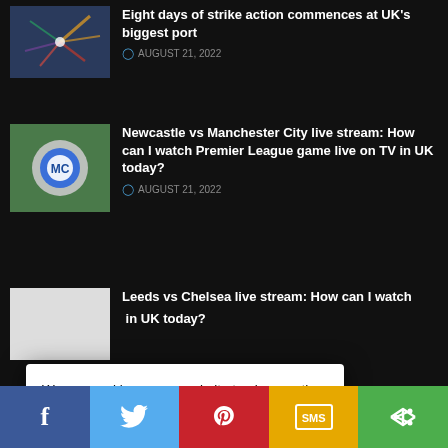Eight days of strike action commences at UK's biggest port — AUGUST 21, 2022
Newcastle vs Manchester City live stream: How can I watch Premier League game live on TV in UK today? — AUGUST 21, 2022
Leeds vs Chelsea live stream: How can I watch [Premier League game live on TV] in UK today?
We use cookies on our website to give you the most relevant experience by remembering your preferences and repeat visits. By clicking “Accept”, you consent to the use of ALL the cookies.
Do not sell my personal information.